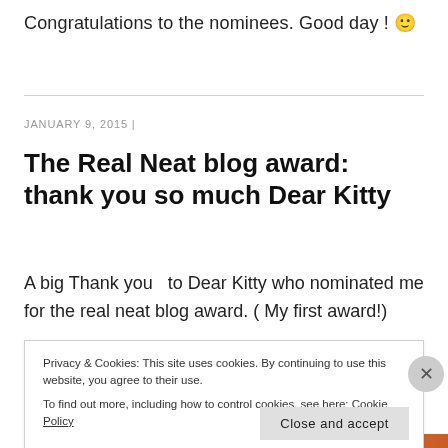Congratulations to the nominees. Good day ! 🙂
JANUARY 9, 2015  |
The Real Neat blog award: thank you so much Dear Kitty
A big Thank you  to Dear Kitty who nominated me for the real neat blog award. ( My first award!)
Privacy & Cookies: This site uses cookies. By continuing to use this website, you agree to their use.
To find out more, including how to control cookies, see here: Cookie Policy
Close and accept